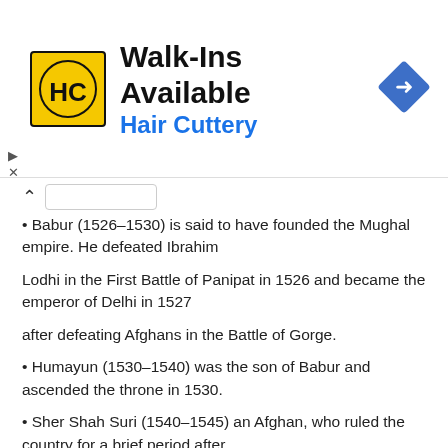[Figure (infographic): Advertisement banner for Hair Cuttery. Yellow square logo with HC letters, text 'Walk-Ins Available' in bold black and 'Hair Cuttery' in blue, blue diamond navigation arrow icon on right.]
Babur (1526–1530) is said to have founded the Mughal empire. He defeated Ibrahim Lodhi in the First Battle of Panipat in 1526 and became the emperor of Delhi in 1527 after defeating Afghans in the Battle of Gorge.
Humayun (1530–1540) was the son of Babur and ascended the throne in 1530.
Sher Shah Suri (1540–1545) an Afghan, who ruled the country for a brief period after